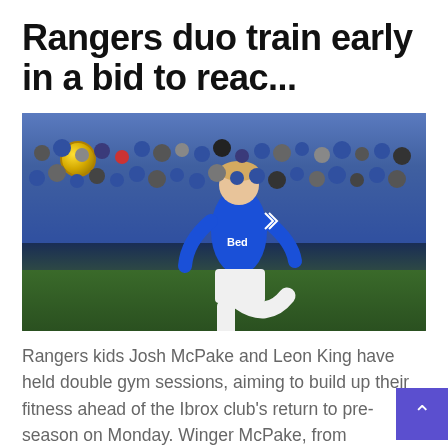Rangers duo train early in a bid to reac...
[Figure (photo): A Rangers FC player in blue kit kicking a ball during a match, with a crowd of supporters visible in the background wearing blue.]
Rangers kids Josh McPake and Leon King have held double gym sessions, aiming to build up their fitness ahead of the Ibrox club's return to pre-season on Monday. Winger McPake, from Coatbridge, was already hard at work at Commando X-Fit at Hillington